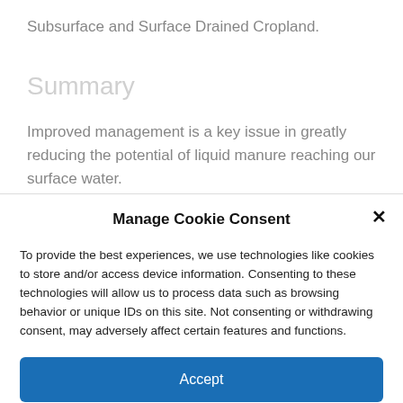Subsurface and Surface Drained Cropland.
Summary
Improved management is a key issue in greatly reducing the potential of liquid manure reaching our surface water.
Manage Cookie Consent
To provide the best experiences, we use technologies like cookies to store and/or access device information. Consenting to these technologies will allow us to process data such as browsing behavior or unique IDs on this site. Not consenting or withdrawing consent, may adversely affect certain features and functions.
Accept
Cookie Policy  Privacy Statement